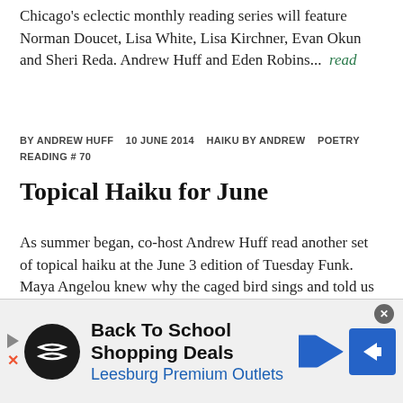Chicago's eclectic monthly reading series will feature Norman Doucet, Lisa White, Lisa Kirchner, Evan Okun and Sheri Reda. Andrew Huff and Eden Robins...  read
BY ANDREW HUFF   10 JUNE 2014   HAIKU BY ANDREW   POETRY READING # 70
Topical Haiku for June
As summer began, co-host Andrew Huff read another set of topical haiku at the June 3 edition of Tuesday Funk. Maya Angelou knew why the caged bird sings and told us about it. May she rest in peace, and may...  read
[Figure (photo): Interior bar scene with vintage beer advertisement signs on a brick wall, including a Valley Forge Special sign and a Consumers Beer sign.]
Back To School Shopping Deals
Leesburg Premium Outlets